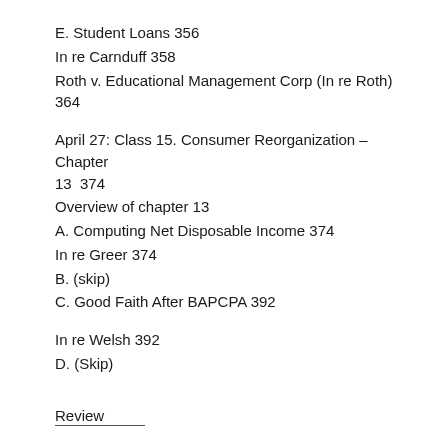E. Student Loans 356
In re Carnduff 358
Roth v. Educational Management Corp (In re Roth) 364
April 27: Class 15. Consumer Reorganization – Chapter 13  374
Overview of chapter 13
A. Computing Net Disposable Income 374
In re Greer 374
B. (skip)
C. Good Faith After BAPCPA 392
In re Welsh 392
D. (Skip)
Review